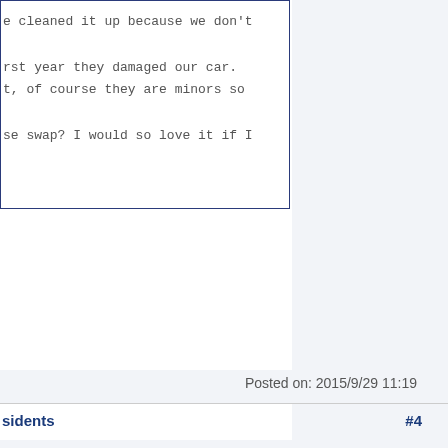e cleaned it up because we don't

rst year they damaged our car.
t, of course they are minors so

se swap? I would so love it if I
Posted on: 2015/9/29 11:19
sidents   #4
was a semi-acoustic skiffle group. In no way could
Posted on: 2015/9/29 3:16